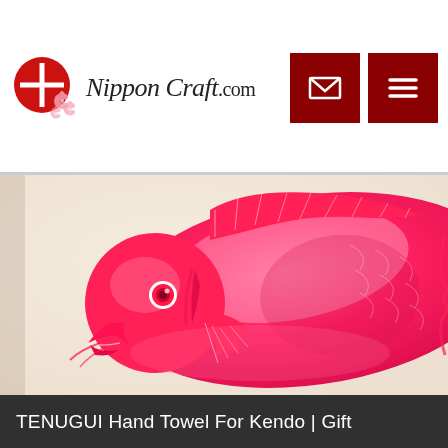NipponCraft.com
[Figure (photo): Close-up photograph of a tenugui (Japanese hand towel) featuring a large bright pink/magenta fish (sea bream/tai) printed in traditional Japanese style on a white/cream fabric background. The fish is shown from the side, with detailed fins, scales, and a round eye visible.]
TENUGUI Hand Towel For Kendo | Gift